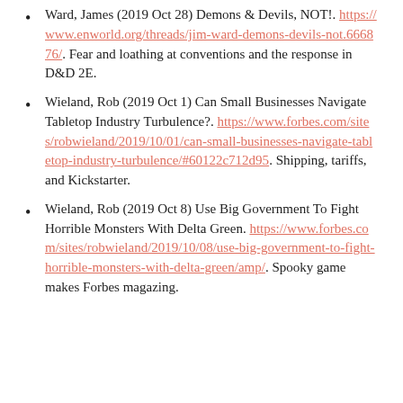Ward, James (2019 Oct 28) Demons & Devils, NOT!. https://www.enworld.org/threads/jim-ward-demons-devils-not.666876/. Fear and loathing at conventions and the response in D&D 2E.
Wieland, Rob (2019 Oct 1) Can Small Businesses Navigate Tabletop Industry Turbulence?. https://www.forbes.com/sites/robwieland/2019/10/01/can-small-businesses-navigate-tabletop-industry-turbulence/#60122c712d95. Shipping, tariffs, and Kickstarter.
Wieland, Rob (2019 Oct 8) Use Big Government To Fight Horrible Monsters With Delta Green. https://www.forbes.com/sites/robwieland/2019/10/08/use-big-government-to-fight-horrible-monsters-with-delta-green/amp/. Spooky game makes Forbes magazing.